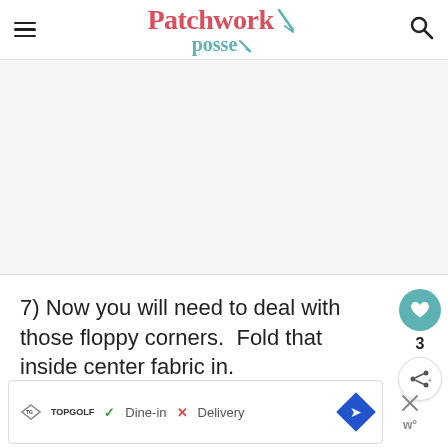Patchwork Posse
[Figure (other): Gray placeholder advertisement area]
7) Now you will need to deal with those floppy corners.  Fold that inside center fabric in.
[Figure (other): Bottom advertisement bar for Topgolf showing Dine-in and Delivery options with map direction icon, and close button]